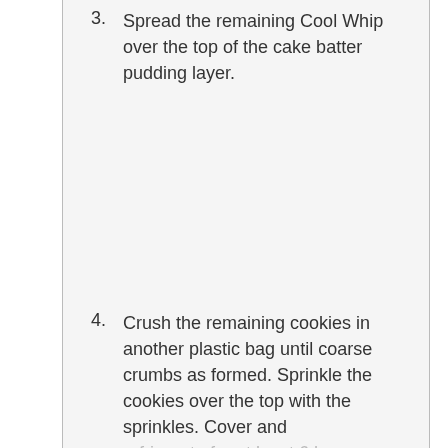3. Spread the remaining Cool Whip over the top of the cake batter pudding layer.
4. Crush the remaining cookies in another plastic bag until coarse crumbs as formed. Sprinkle the cookies over the top with the sprinkles. Cover and refrigerate for at least 6 hours before cutting into slices to serve.